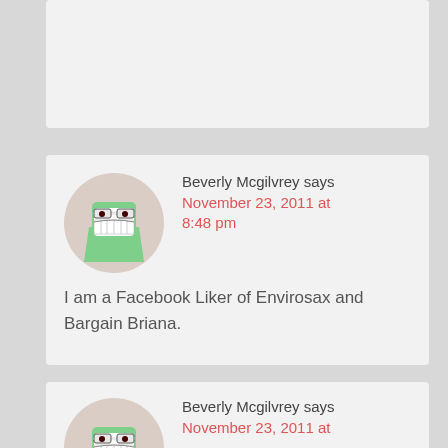[Figure (other): Partial top comment card, mostly cut off at top of page]
Beverly Mcgilvrey says
November 23, 2011 at 8:48 pm
I am a Facebook Liker of Envirosax and Bargain Briana.
Beverly Mcgilvrey says
November 23, 2011 at